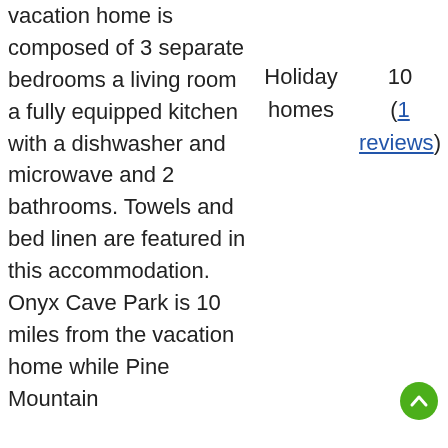vacation home is composed of 3 separate bedrooms a living room a fully equipped kitchen with a dishwasher and microwave and 2 bathrooms. Towels and bed linen are featured in this accommodation. Onyx Cave Park is 10 miles from the vacation home while Pine Mountain
Holiday homes
10 (1 reviews)
3.1
0.00